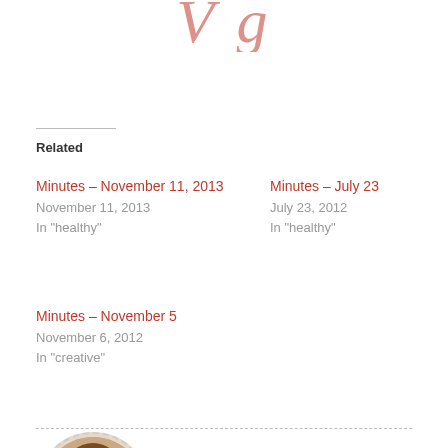[Figure (illustration): Partial decorative cursive/script text in red/pink at the top of the page, partially cropped]
Related
Minutes – November 11, 2013
November 11, 2013
In "healthy"
Minutes – July 23
July 23, 2012
In "healthy"
Minutes – November 5
November 6, 2012
In "creative"
[Figure (photo): Circular portrait photo of a woman with curly hair, smiling]
Published by
Angela Pea